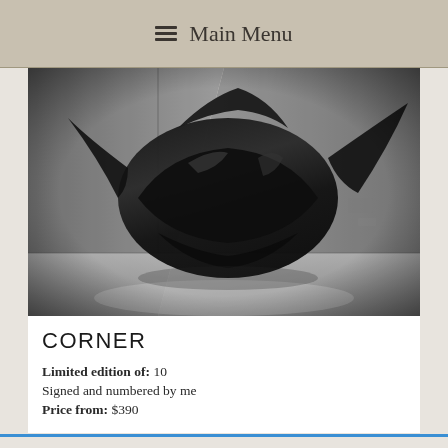☰ Main Menu
[Figure (photo): Black and white fine art photograph of a dark flowing garment (coat or dress) suspended/floating in the corner of a bare concrete room. The fabric billows outward dramatically against textured gray walls and a plain floor.]
CORNER
Limited edition of: 10
Signed and numbered by me
Price from: $390